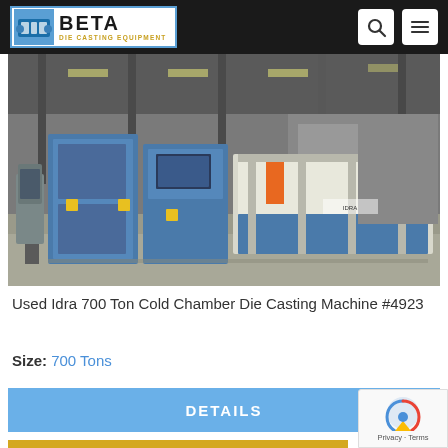BETA Die Casting Equipment
[Figure (photo): Industrial die casting machine (Idra 700 Ton Cold Chamber) in a factory/warehouse setting, primarily blue colored with control panels and an outboard frame, on a concrete floor.]
Used Idra 700 Ton Cold Chamber Die Casting Machine #4923
Size: 700 Tons
DETAILS